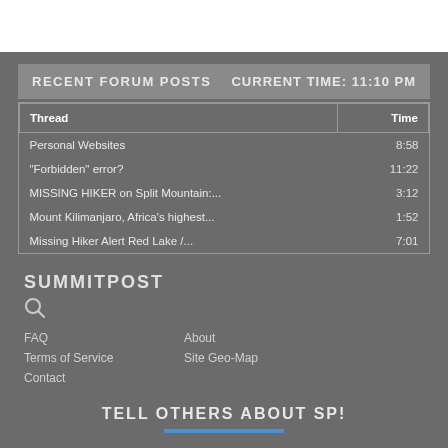RECENT FORUM POSTS   CURRENT TIME: 11:10 PM
| Thread | Time |
| --- | --- |
| Personal Websites | 8:58 |
| "Forbidden" error? | 11:22 |
| MISSING HIKER on Split Mountain:... | 3:12 |
| Mount Kilimanjaro, Africa's highest... | 1:52 |
| Missing Hiker Alert Red Lake /... | 7:01 |
SUMMITPOST
[Figure (illustration): Search icon (magnifying glass)]
FAQ
About
Terms of Service
Site Geo-Map
Contact
TELL OTHERS ABOUT SP!